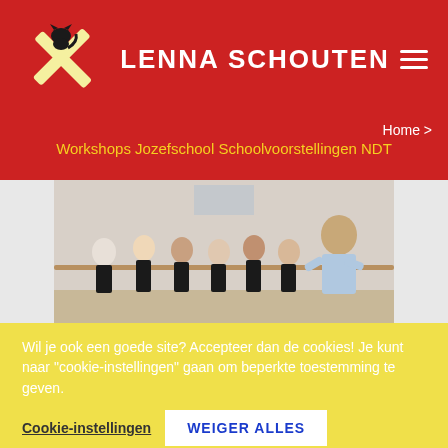LENNA SCHOUTEN
Home >
Workshops Jozefschool Schoolvoorstellingen NDT
[Figure (photo): Children and instructor in a dance workshop in a studio with ballet barre on wall]
Wil je ook een goede site? Accepteer dan de cookies! Je kunt naar "cookie-instellingen" gaan om beperkte toestemming te geven.
Cookie-instellingen   WEIGER ALLES   ACCEPTEER ALLES